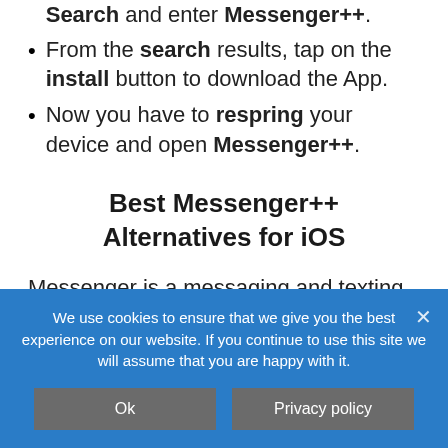Search and enter Messenger++.
From the search results, tap on the install button to download the App.
Now you have to respring your device and open Messenger++.
Best Messenger++ Alternatives for iOS
Messenger is a messaging and texting application provided to users by Facebook. It has been an amazing application that provides end to end encryption to protect
We use cookies to ensure that we give you the best experience on our website. If you continue to use this site we will assume that you are happy with it.